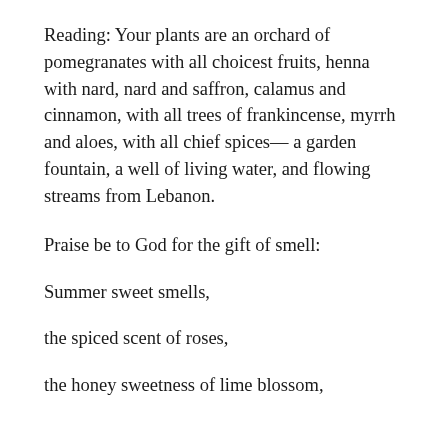Reading: Your plants are an orchard of pomegranates with all choicest fruits, henna with nard, nard and saffron, calamus and cinnamon, with all trees of frankincense, myrrh and aloes, with all chief spices— a garden fountain, a well of living water, and flowing streams from Lebanon.
Praise be to God for the gift of smell:
Summer sweet smells,
the spiced scent of roses,
the honey sweetness of lime blossom,